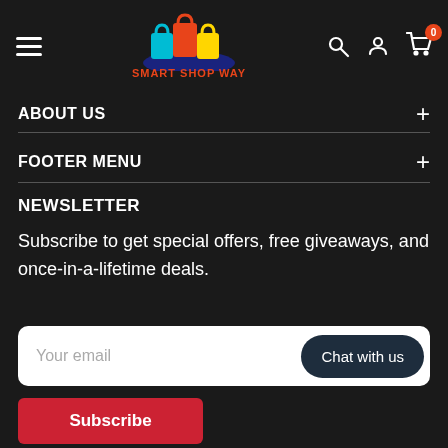[Figure (logo): Smart Shop Way logo with colorful shopping bags and red brand name text]
ABOUT US
FOOTER MENU
NEWSLETTER
Subscribe to get special offers, free giveaways, and once-in-a-lifetime deals.
Your email
Chat with us
Subscribe